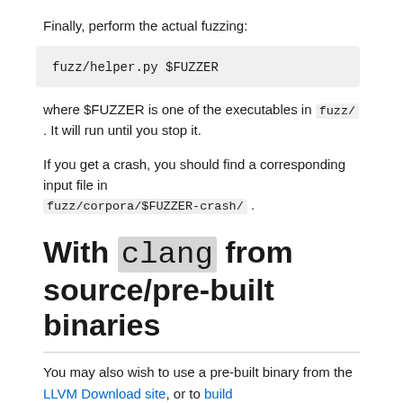Finally, perform the actual fuzzing:
fuzz/helper.py $FUZZER
where $FUZZER is one of the executables in fuzz/ . It will run until you stop it.
If you get a crash, you should find a corresponding input file in fuzz/corpora/$FUZZER-crash/ .
With clang from source/pre-built binaries
You may also wish to use a pre-built binary from the LLVM Download site, or to build